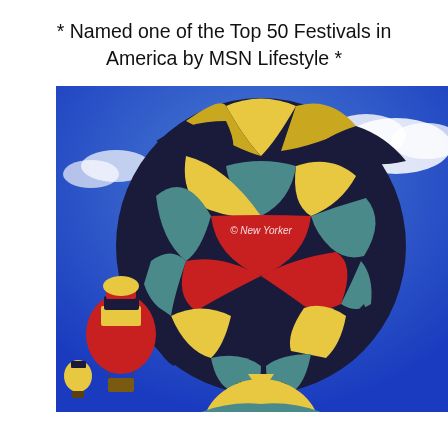* Named one of the Top 50 Festivals in America by MSN Lifestyle *
[Figure (photo): Colorful hot air balloons against a bright blue sky with clouds. The main balloon dominates the frame, seen from below, featuring a bold chevron pattern in yellow, navy, teal, red, and orange. A watermark reads '© New Yorker' on the balloon. Smaller balloons are visible at the lower left and bottom of the image.]